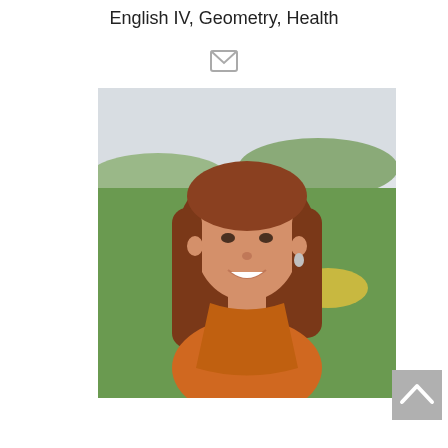English IV, Geometry, Health
[Figure (photo): Email/envelope icon in gray]
[Figure (photo): Portrait photo of a young woman with long auburn/red hair, smiling, wearing an orange top, standing outdoors with green grass and trees in the background]
[Figure (other): Back to top button with upward arrow chevron, gray background]